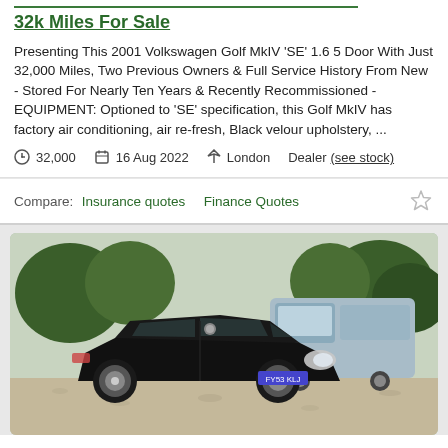32k Miles For Sale
Presenting This 2001 Volkswagen Golf MkIV 'SE' 1.6 5 Door With Just 32,000 Miles, Two Previous Owners & Full Service History From New - Stored For Nearly Ten Years & Recently Recommissioned - EQUIPMENT: Optioned to 'SE' specification, this Golf MkIV has factory air conditioning, air re-fresh, Black velour upholstery, ...
32,000  16 Aug 2022  London  Dealer (see stock)
Compare: Insurance quotes  Finance Quotes
[Figure (photo): Black Volkswagen Golf MkIV hatchback parked on gravel, with a silver van in the background and trees/shrubs behind.]